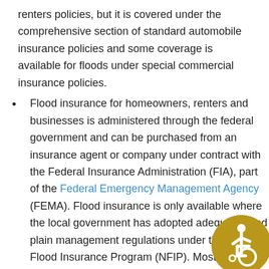renters policies, but it is covered under the comprehensive section of standard automobile insurance policies and some coverage is available for floods under special commercial insurance policies.
Flood insurance for homeowners, renters and businesses is administered through the federal government and can be purchased from an insurance agent or company under contract with the Federal Insurance Administration (FIA), part of the Federal Emergency Management Agency (FEMA). Flood insurance is only available where the local government has adopted adequate flood plain management regulations under the National Flood Insurance Program (NFIP). Most communities participate in the program.
Flood insurance covers direct physical losses from floods and losses resulting from flood-related erosion